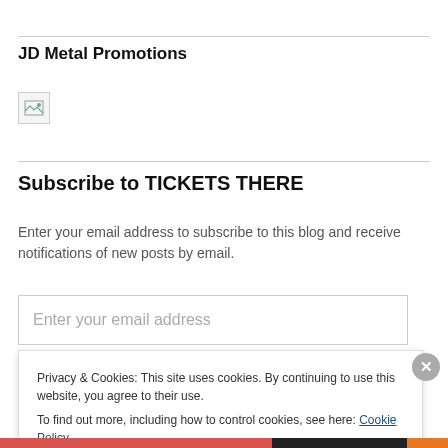JD Metal Promotions
[Figure (other): Broken/missing image placeholder icon]
Subscribe to TICKETS THERE
Enter your email address to subscribe to this blog and receive notifications of new posts by email.
Enter your email address
Privacy & Cookies: This site uses cookies. By continuing to use this website, you agree to their use.
To find out more, including how to control cookies, see here: Cookie Policy
Close and accept